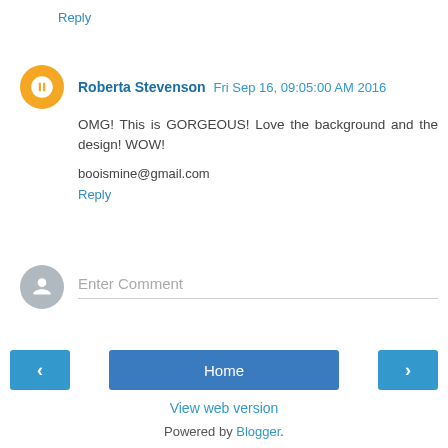Reply
Roberta Stevenson  Fri Sep 16, 09:05:00 AM 2016
OMG! This is GORGEOUS! Love the background and the design! WOW!

booismine@gmail.com
Reply
Enter Comment
Home
View web version
Powered by Blogger.